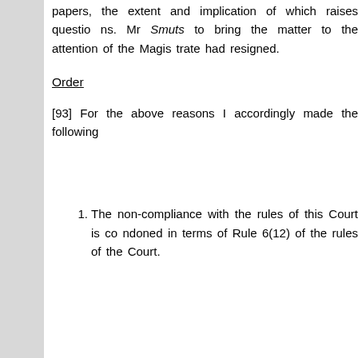papers, the extent and implication of which raises questions. Mr Smuts to bring the matter to the attention of the Magistrate had resigned.
Order
[93] For the above reasons I accordingly made the following
1. The non-compliance with the rules of this Court is condoned in terms of Rule 6(12) of the rules of the Court.
2. The decision taken by the first respondent on 27 March concerning Lazarus Kandara (Inquest 01/06) is set aside.